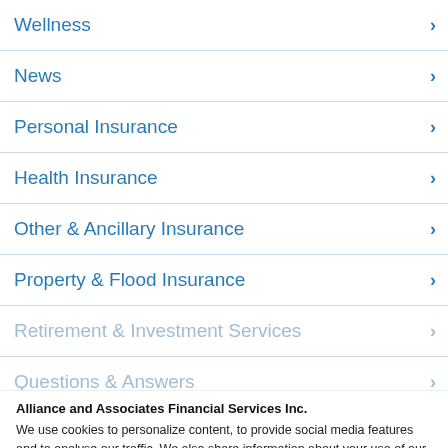Wellness
News
Personal Insurance
Health Insurance
Other & Ancillary Insurance
Property & Flood Insurance
Retirement & Investment Services
Questions & Answers
Alliance and Associates Financial Services Inc. We use cookies to personalize content, to provide social media features and to analyse our traffic. We also share information about your use of our site with our social media and analytics partners. Cookie Policy
GET A FRE  Leave a m  ✓ Accept Cookies